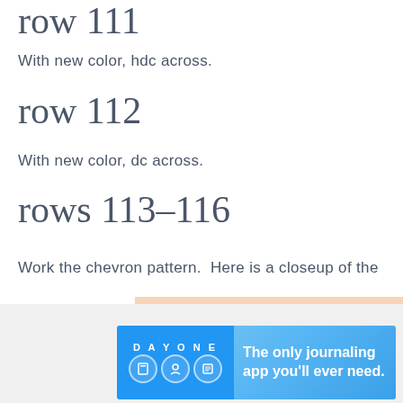row 111
With new color, hdc across.
row 112
With new color, dc across.
rows 113–116
Work the chevron pattern.  Here is a closeup of the
[Figure (photo): Closeup photo of peach/salmon colored crochet chevron pattern texture]
Advertisements
[Figure (other): Day One journaling app advertisement banner with text: The only journaling app you'll ever need.]